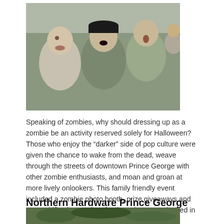[Figure (photo): Group of people dressed as zombies with makeup, smiling and posing outdoors at a zombie event in downtown Prince George.]
Speaking of zombies, why should dressing up as a zombie be an activity reserved solely for Halloween? Those who enjoy the “darker” side of pop culture were given the chance to wake from the dead, weave through the streets of downtown Prince George with other zombie enthusiasts, and moan and groan at more lively onlookers. This family friendly event included a zombie photo booth, prize giveaways and a “Zombification Station” for those less experienced in makeup artistry.
Northern Hardware Prince George Canoe Race
[Figure (photo): Partial view of a canoe race scene with greenery in background.]